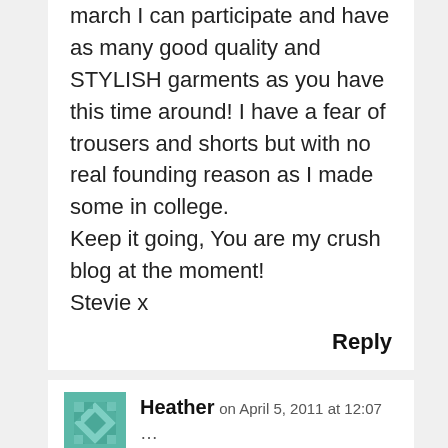march I can participate and have as many good quality and STYLISH garments as you have this time around! I have a fear of trousers and shorts but with no real founding reason as I made some in college.
Keep it going, You are my crush blog at the moment!
Stevie x
Reply
Heather on April 5, 2011 at 12:07